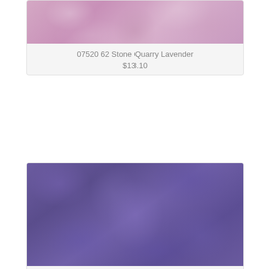[Figure (photo): Lavender/pink mottled fabric texture - Stone Quarry Lavender]
07520 62 Stone Quarry Lavender
$13.10
[Figure (photo): Purple mottled batik fabric texture - Stone Quarry Purple]
07520 66 Stone Quarry Purple